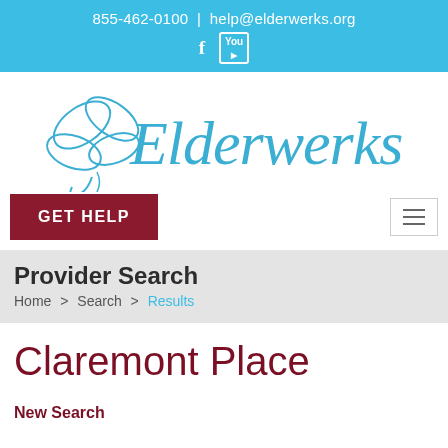855-462-0100 | help@elderwerks.org
[Figure (logo): Elderwerks logo with butterfly graphic and stylized script text]
GET HELP
Provider Search
Home > Search > Results
Claremont Place
New Search